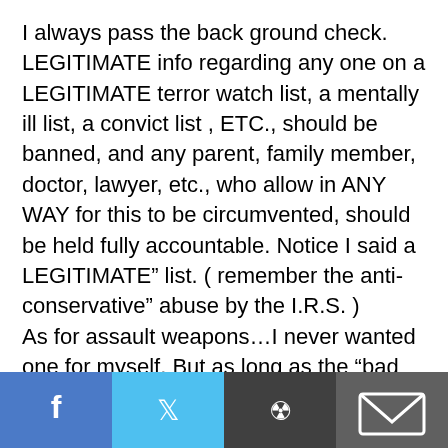I always pass the back ground check. LEGITIMATE info regarding any one on a LEGITIMATE terror watch list, a mentally ill list, a convict list , ETC., should be banned, and any parent, family member, doctor, lawyer, etc., who allow in ANY WAY for this to be circumvented, should be held fully accountable. Notice I said a LEGITIMATE” list. ( remember the anti-conservative” abuse by the I.R.S. ) As for assault weapons…I never wanted one for myself. But as long as the “bad guys” can get one them, I want the right to own one legally. If the guy who invades my home can throw 25 or 30 shots per minute at me, I want the ability AND THE
[Figure (other): Social sharing bar with Facebook, Twitter, Reddit, and email icons at the bottom of the page]
R worked. But the